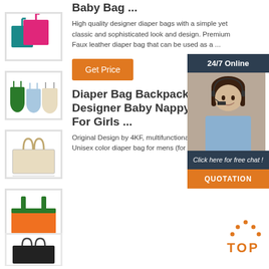[Figure (photo): Thumbnail of pink and teal fabric bags]
[Figure (photo): Thumbnail of colorful drawstring bags]
[Figure (photo): Thumbnail of beige canvas tote bag]
[Figure (photo): Thumbnail of orange and green tote bag]
[Figure (photo): Thumbnail of black tote bag]
Baby Bag ...
High quality designer diaper bags with a simple yet classic and sophisticated look and design. Premium Faux leather diaper bag that can be used as a ...
Get Price
Diaper Bag Backpack Designer Baby Nappy Bag For Girls ...
Original Design by 4KF, multifunctional diaper bag. Unisex color diaper bag for mens (for dads)
[Figure (infographic): 24/7 Online chat support overlay with agent photo, 'Click here for free chat!' text and QUOTATION button]
[Figure (logo): TOP logo with orange dots and text]